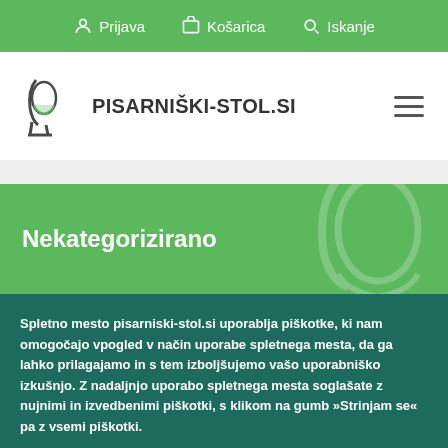Prijava   Košarica   Iskanje
[Figure (logo): Pisarniški-stol.si logo with chair icon]
Nekategorizirano
Spletno mesto pisarniski-stol.si uporablja piškotke, ki nam omogočajo vpogled v način uporabe spletnega mesta, da ga lahko prilagajamo in s tem izboljšujemo vašo uporabniško izkušnjo. Z nadaljnjo uporabo spletnega mesta soglašate z nujnimi in izvedbenimi piškotki, s klikom na gumb »Strinjam se« pa z vsemi piškotki.
Strinjam se